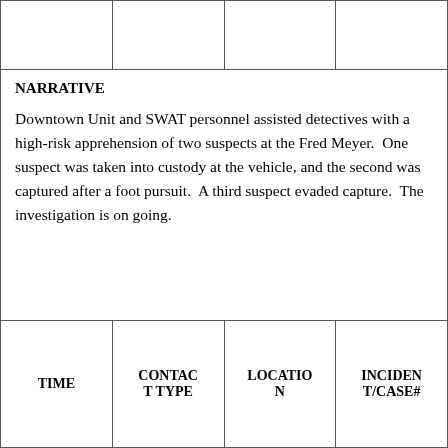|  |  |  |  |
| --- | --- | --- | --- |
|  |  |  |  |
| NARRATIVE

Downtown Unit and SWAT personnel assisted detectives with a high-risk apprehension of two suspects at the Fred Meyer.  One suspect was taken into custody at the vehicle, and the second was captured after a foot pursuit.  A third suspect evaded capture.  The investigation is on going. |  |  |  |
| TIME | CONTACT TYPE | LOCATION | INCIDENT/CASE# |